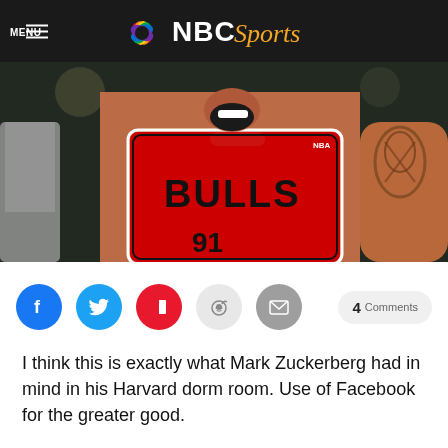MENU | NBC Sports
[Figure (photo): Basketball player wearing Chicago Bulls red jersey #91, mouth open, with tattoos visible on right arm, celebrating or reacting during a game]
[Figure (infographic): Social sharing buttons: Facebook, Twitter, Flipboard, Reddit, Email, and a '4 Comments' button]
I think this is exactly what Mark Zuckerberg had in mind in his Harvard dorm room. Use of Facebook for the greater good.
A fan of The Worm — not the one at the bottom of a